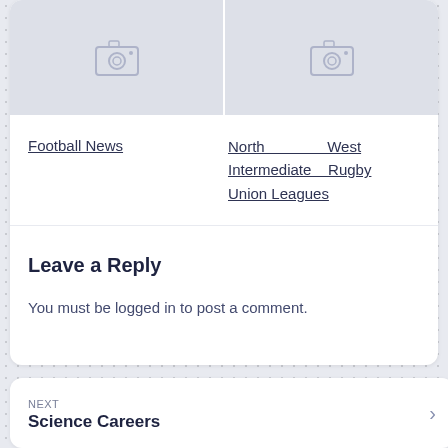[Figure (photo): Two image placeholder thumbnails with camera icons on a light blue-gray background]
Football News
North West Intermediate Rugby Union Leagues
Leave a Reply
You must be logged in to post a comment.
NEXT
Science Careers